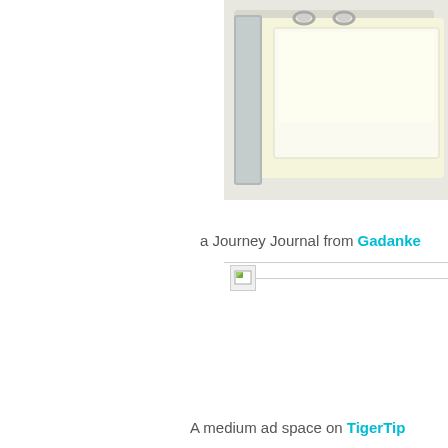[Figure (photo): Partial view of a ring-bound journal/binder with cream/ivory colored cover, metal rings visible at top, cropped from the right side of the page]
a Journey Journal from Gadanke
[Figure (other): Broken image icon with a horizontal line extending to the right]
A medium ad space on TigerTips